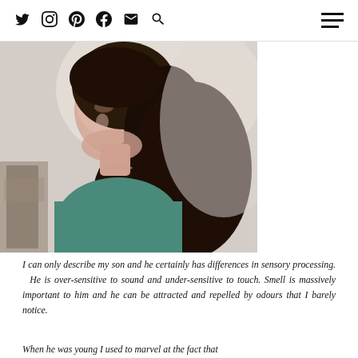Social media icons: Twitter, Instagram, Pinterest, Facebook, Email, Search; Hamburger menu
[Figure (photo): Woman with long dark hair wearing a teal/green top, looking upward to the side, photographed outdoors near a wooden structure]
I can only describe my son and he certainly has differences in sensory processing. He is over-sensitive to sound and under-sensitive to touch. Smell is massively important to him and he can be attracted and repelled by odours that I barely notice.
When he was young I used to marvel at the fact that